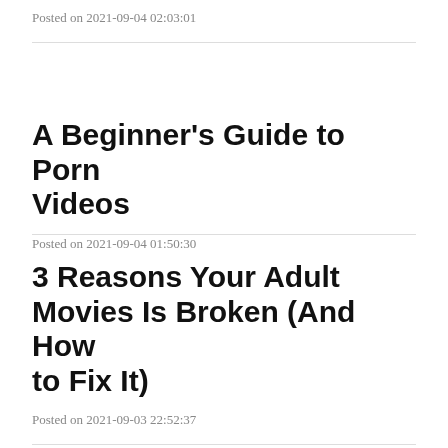Posted on 2021-09-04 02:03:01
A Beginner's Guide to Porn Videos
Posted on 2021-09-04 01:50:30
3 Reasons Your Adult Movies Is Broken (And How to Fix It)
Posted on 2021-09-03 22:52:37